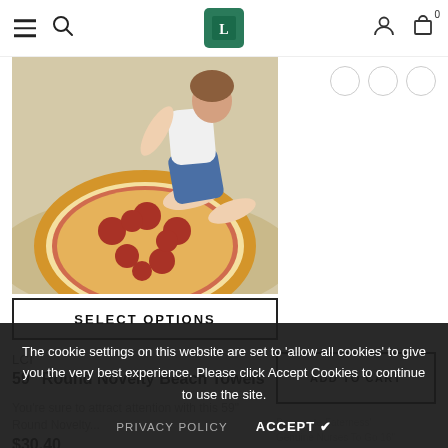Navigation bar with hamburger menu, search icon, logo, user icon, cart (0)
[Figure (photo): Woman sitting on a round pizza-shaped beach towel on sand]
SELECT OPTIONS
LCI
59" Round Novelty Beach Towels
You're sure to attract attention with this 59" Round Novelty...
$30.40
ADD TO CART
The cookie settings on this website are set to 'allow all cookies' to give you the very best experience. Please click Accept Cookies to continue to use the site.
PRIVACY POLICY
ACCEPT ✓